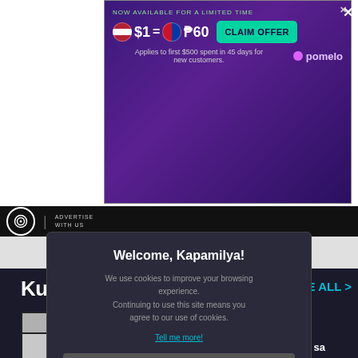[Figure (screenshot): Advertisement banner for Pomelo showing currency exchange rate: $1 = ₱60, with a 'CLAIM OFFER' button. Text says 'NOW AVAILABLE FOR A LIMITED TIME' and 'Applies to first $500 spent in 45 days for new customers.']
[Figure (logo): ABS-CBN logo (circular target-like logo) with 'ADVERTISE WITH US' text on black navigation bar]
[Figure (screenshot): Dark background content section showing 'KumuS' header text on the left and 'SEE ALL >' link in cyan on the right, with video thumbnail cards below]
[Figure (screenshot): Cookie consent modal dialog on dark background. Title: 'Welcome, Kapamilya!' Body: 'We use cookies to improve your browsing experience. Continuing to use this site means you agree to our use of cookies.' Link: 'Tell me more!' Button: 'I AGREE!']
nardo handles Ka
Anji, interesado bang sumali sa beauty pageants? | KumuStar Ka